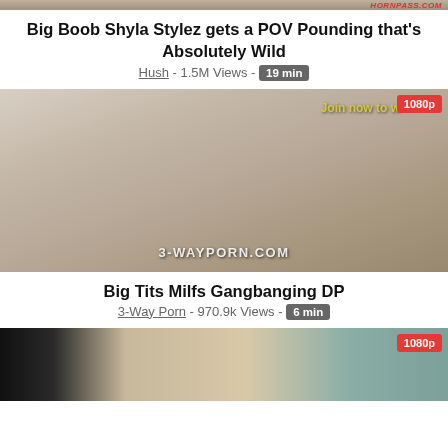[Figure (screenshot): Partially visible video thumbnail at top of page, cropped]
Big Boob Shyla Stylez gets a POV Pounding that’s Absolutely Wild
Hush - 1.5M Views - 19 min
[Figure (screenshot): Video thumbnail showing group scene with watermark '3-WAYPORN.COM' and '1080p' badge and 'Join now to w' overlay text]
Big Tits Milfs Gangbanging DP
3-Way Porn - 970.9k Views - 6 min
[Figure (screenshot): Partially visible video thumbnail at bottom of page with '1080p' badge]